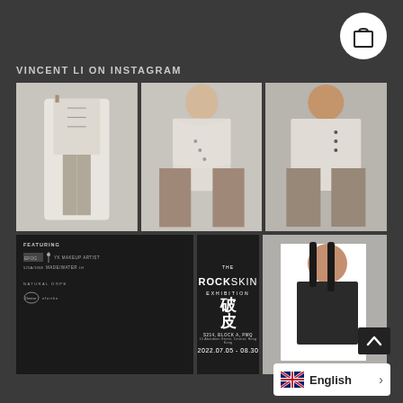[Figure (screenshot): Shopping bag icon in white circle on dark background]
VINCENT LI ON INSTAGRAM
[Figure (photo): Fashion model seen from behind wearing white structured vest and patterned trousers]
[Figure (photo): Fashion model facing front wearing white draped asymmetric top with embellishments and patterned trousers]
[Figure (photo): Fashion model looking down wearing white structured jacket with buttons and patterned trousers]
[Figure (infographic): Dark panel showing FEATURING credits including makeup artist, MADE/WATER, NATURAL DOPE, and other collaborators]
[Figure (infographic): THE ROCK SKIN Exhibition dark poster with Chinese characters, S214, BLOCK A, PMQ, 15 Aberdeen Street, Central, Hong Kong, 2022.07.05 - 08.30]
[Figure (photo): Fashion model with dark straight hair wearing dark strapless structured top against light grey background]
[Figure (screenshot): Back to top arrow button]
[Figure (screenshot): Language selector showing UK flag and English text with arrow]